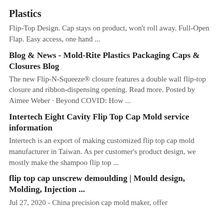Plastics
Flip-Top Design. Cap stays on product, won't roll away. Full-Open Flap. Easy access, one hand ...
Blog & News - Mold-Rite Plastics Packaging Caps & Closures Blog
The new Flip-N-Squeeze® closure features a double wall flip-top closure and ribbon-dispensing opening. Read more. Posted by Aimee Weber · Beyond COVID: How ...
Intertech Eight Cavity Flip Top Cap Mold service information
Intertech is an export of making customized flip top cap mold manufacturer in Taiwan. As per customer's product design, we mostly make the shampoo flip top ...
flip top cap unscrew demoulding | Mould design, Molding, Injection ...
Jul 27, 2020 - China precision cap mold maker, offer